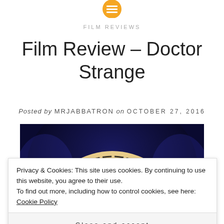[Figure (logo): Yellow/orange circular logo with horizontal lines icon]
FILM REVIEWS
Film Review – Doctor Strange
Posted by MRJABBATRON on OCTOBER 27, 2016
[Figure (photo): Film still from Doctor Strange showing a glowing circular arch/portal against a dark blue background with a figure below]
Privacy & Cookies: This site uses cookies. By continuing to use this website, you agree to their use.
To find out more, including how to control cookies, see here: Cookie Policy
Close and accept
[Figure (photo): Bottom portion of a film still showing a person's eyes and face]